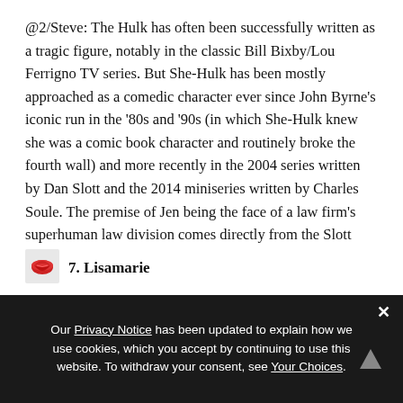@2/Steve: The Hulk has often been successfully written as a tragic figure, notably in the classic Bill Bixby/Lou Ferrigno TV series. But She-Hulk has been mostly approached as a comedic character ever since John Byrne’s iconic run in the ‘80s and ’90s (in which She-Hulk knew she was a comic book character and routinely broke the fourth wall) and more recently in the 2004 series written by Dan Slott and the 2014 miniseries written by Charles Soule. The premise of Jen being the face of a law firm’s superhuman law division comes directly from the Slott series.
7. Lisamarie
Our Privacy Notice has been updated to explain how we use cookies, which you accept by continuing to use this website. To withdraw your consent, see Your Choices.